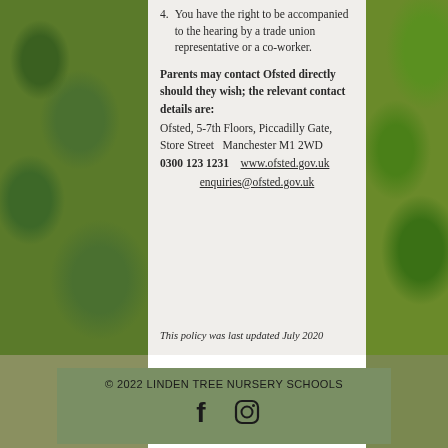4.    You have the right to be accompanied to the hearing by a trade union representative or a co-worker.
Parents may contact Ofsted directly should they wish; the relevant contact details are: Ofsted, 5-7th Floors, Piccadilly Gate, Store Street  Manchester M1 2WD  0300 123 1231   www.ofsted.gov.uk  enquiries@ofsted.gov.uk
This policy was last updated July 2020
© 2022 LINDEN TREE NURSERY SCHOOLS